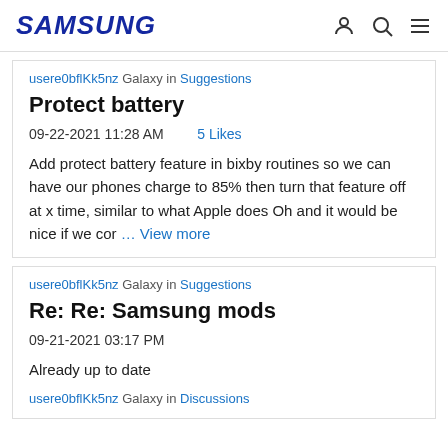SAMSUNG
usere0bflKk5nz Galaxy in Suggestions
Protect battery
09-22-2021 11:28 AM  5 Likes
Add protect battery feature in bixby routines so we can have our phones charge to 85% then turn that feature off at x time, similar to what Apple does Oh and it would be nice if we cor … View more
usere0bflKk5nz Galaxy in Suggestions
Re: Re: Samsung mods
09-21-2021 03:17 PM
Already up to date
usere0bflKk5nz Galaxy in Discussions